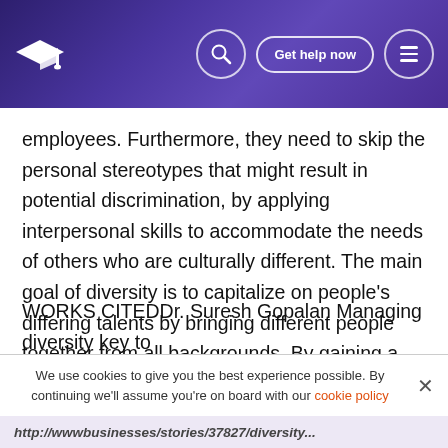Get help now
employees. Furthermore, they need to skip the personal stereotypes that might result in potential discrimination, by applying interpersonal skills to accommodate the needs of others who are culturally different. The main goal of diversity is to capitalize on people's differing talents by bringing different people together from all backgrounds. By gaining a better understanding of these emerging issues and having appropriate strategies, proactive managers increase their chances of managing diversity in a more effective manner.
WORKS CITEDDr. Suresh Gopalan Managing diversity key to
We use cookies to give you the best experience possible. By continuing we'll assume you're on board with our cookie policy
http://wwwbusinesses/stories/37827/diversity...